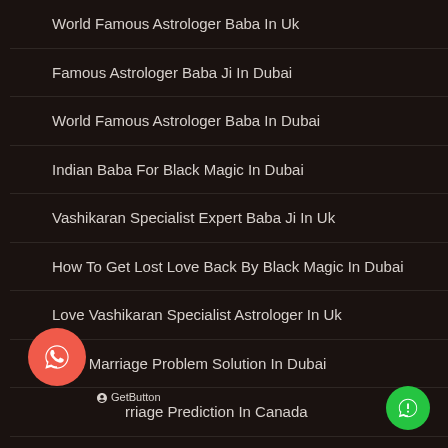World Famous Astrologer Baba In Uk
Famous Astrologer Baba Ji In Dubai
World Famous Astrologer Baba In Dubai
Indian Baba For Black Magic In Dubai
Vashikaran Specialist Expert Baba Ji In Uk
How To Get Lost Love Back By Black Magic In Dubai
Love Vashikaran Specialist Astrologer In Uk
Love Marriage Problem Solution In Dubai
Love Marriage Prediction In Canada
Inter Caste Love Marriage Problem Solution In Dubai